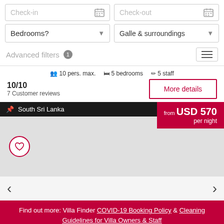[Figure (screenshot): Villa search interface with check-in/check-out date inputs, bedrooms dropdown, location dropdown (Galle & surroundings), advanced filters label with badge, and hamburger menu button]
10 pers. max.  5 bedrooms  5 staff
10/10
7 Customer reviews
More details
South Sri Lanka
from USD 570 per night
Find out more: Villa Finder COVID-19 Booking Policy & Cleaning Guidelines for Villa Owners & Staff